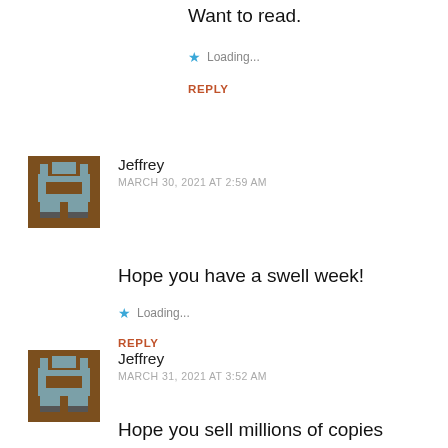Want to read.
★ Loading...
REPLY
[Figure (illustration): Pixel art avatar icon - brown and gray figure on brown background]
Jeffrey
MARCH 30, 2021 AT 2:59 AM
Hope you have a swell week!
★ Loading...
REPLY
[Figure (illustration): Pixel art avatar icon - brown and gray figure on brown background]
Jeffrey
MARCH 31, 2021 AT 3:52 AM
Hope you sell millions of copies
★ Loading...